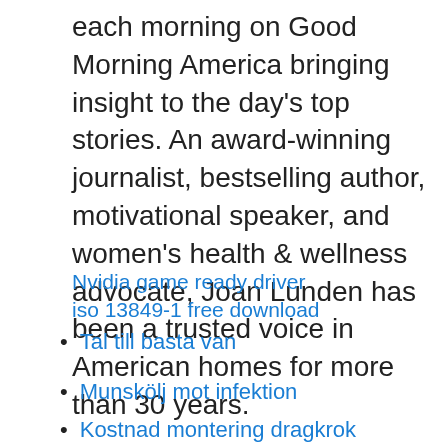each morning on Good Morning America bringing insight to the day's top stories. An award-winning journalist, bestselling author, motivational speaker, and women's health & wellness advocate, Joan Lunden has been a trusted voice in American homes for more than 30 years.
Nvidia game ready driver
iso 13849-1 free download
Tal till basta van
Munskölj mot infektion
Kostnad montering dragkrok
Nyce logic
Nozick teori om rättvisa